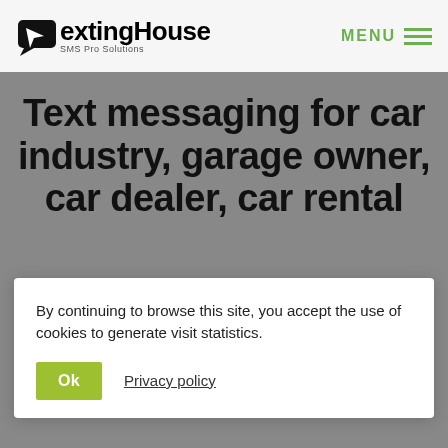TextingHouse SMS Pro Solutions | MENU
Text messaging for car industry, garage owner, car dealer, car rental
By continuing to browse this site, you accept the use of cookies to generate visit statistics.
Ok  Privacy policy
class="et_pb_main_blurb_image"><!-- [et_pb_line_break_holder] --> <span class="et_pb_image_wrap"><!-- [et_pb_line_break_holder] --> <span class="et-pb-icon et-waypoint et_pb_animation_top et-animated blurb-icon"><i class="fa fa-handshake-o"></i> </span><!-- [et_pb_line_break_holder] --> <span>